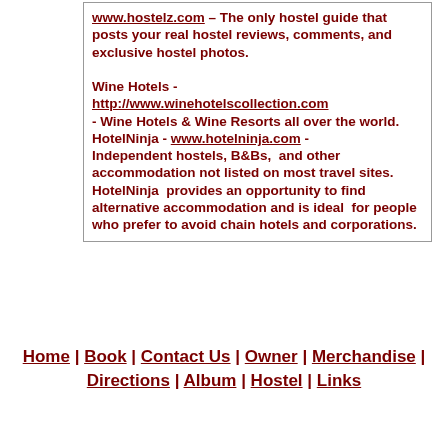www.hostelz.com – The only hostel guide that posts your real hostel reviews, comments, and exclusive hostel photos.

Wine Hotels - http://www.winehotelscollection.com - Wine Hotels & Wine Resorts all over the world.
HotelNinja - www.hotelninja.com - Independent hostels, B&Bs, and other accommodation not listed on most travel sites. HotelNinja provides an opportunity to find alternative accommodation and is ideal for people who prefer to avoid chain hotels and corporations.
Home | Book | Contact Us | Owner | Merchandise | Directions | Album | Hostel | Links